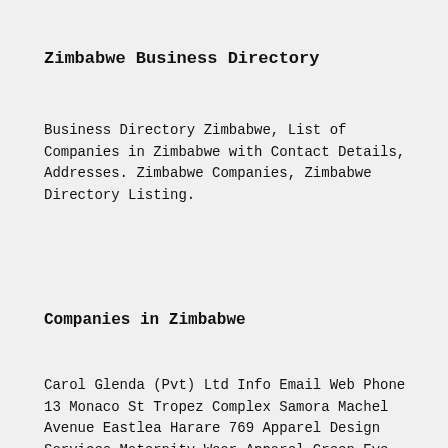Zimbabwe Business Directory
Business Directory Zimbabwe, List of Companies in Zimbabwe with Contact Details, Addresses. Zimbabwe Companies, Zimbabwe Directory Listing.
Companies in Zimbabwe
Carol Glenda (Pvt) Ltd Info Email Web Phone 13 Monaco St Tropez Complex Samora Machel Avenue Eastlea Harare 769 Apparel Design Services Maternity Wear Apparel Green Eye Marketing (Pvt) Ltd 16 Tom Espinler Info Email Web Phone ...